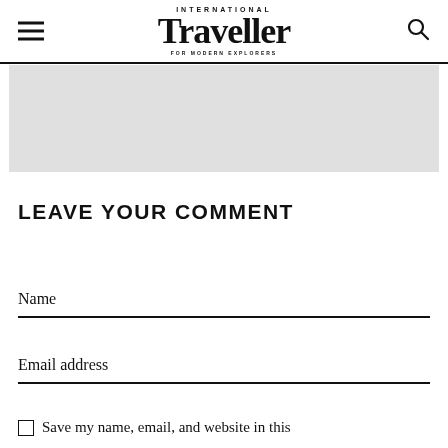INTERNATIONAL Traveller FOR MODERN EXPLORERS
[Figure (other): Gray advertisement banner placeholder]
LEAVE YOUR COMMENT
Name
Email address
Save my name, email, and website in this